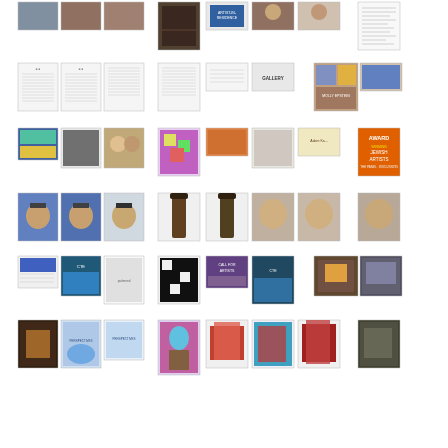[Figure (photo): Grid of thumbnail images arranged in 6 rows showing various artwork, documents, photographs, portraits, and exhibition materials from what appears to be an art organization or museum collection.]